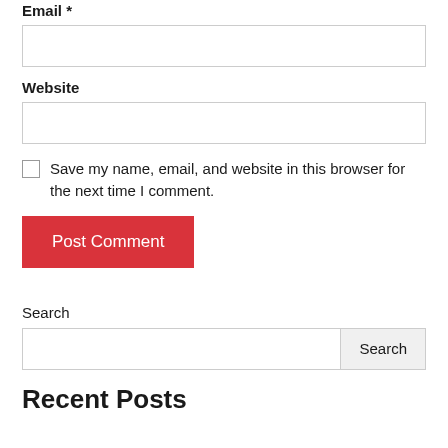Email *
Website
Save my name, email, and website in this browser for the next time I comment.
Post Comment
Search
Recent Posts